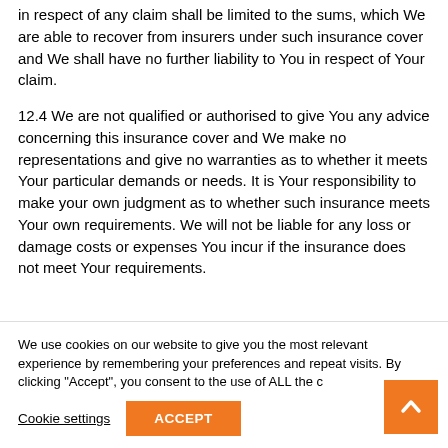in respect of any claim shall be limited to the sums, which We are able to recover from insurers under such insurance cover and We shall have no further liability to You in respect of Your claim.
12.4 We are not qualified or authorised to give You any advice concerning this insurance cover and We make no representations and give no warranties as to whether it meets Your particular demands or needs. It is Your responsibility to make your own judgment as to whether such insurance meets Your own requirements. We will not be liable for any loss or damage costs or expenses You incur if the insurance does not meet Your requirements.
We use cookies on our website to give you the most relevant experience by remembering your preferences and repeat visits. By clicking "Accept", you consent to the use of ALL the c